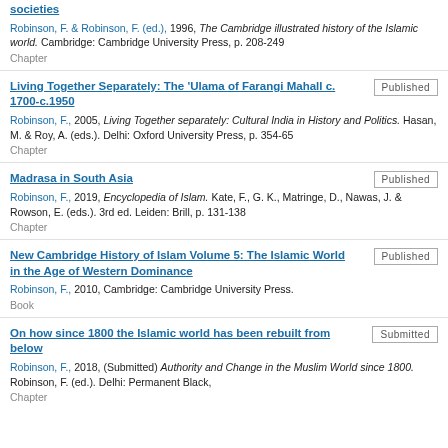societies
Robinson, F. & Robinson, F. (ed.), 1996, The Cambridge illustrated history of the Islamic world. Cambridge: Cambridge University Press, p. 208-249
Chapter
Living Together Separately: The 'Ulama of Farangi Mahall c. 1700-c.1950
Published
Robinson, F., 2005, Living Together separately: Cultural India in History and Politics. Hasan, M. & Roy, A. (eds.). Delhi: Oxford University Press, p. 354-65
Chapter
Madrasa in South Asia
Published
Robinson, F., 2019, Encyclopedia of Islam. Kate, F., G. K., Matringe, D., Nawas, J. & Rowson, E. (eds.). 3rd ed. Leiden: Brill, p. 131-138
Chapter
New Cambridge History of Islam Volume 5: The Islamic World in the Age of Western Dominance
Published
Robinson, F., 2010, Cambridge: Cambridge University Press.
Book
On how since 1800 the Islamic world has been rebuilt from below
Submitted
Robinson, F., 2018, (Submitted) Authority and Change in the Muslim World since 1800. Robinson, F. (ed.). Delhi: Permanent Black,
Chapter